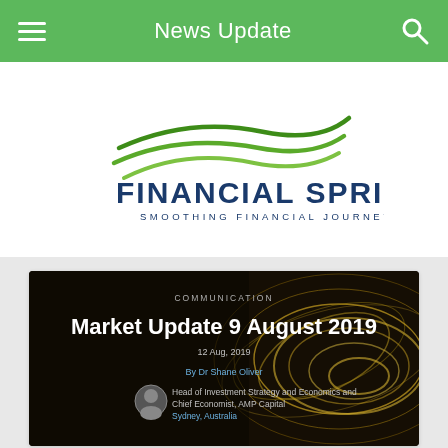News Update
[Figure (logo): Financial Springs logo with green wave swooshes above the text 'FINANCIAL SPRINGS' in dark navy bold, and tagline 'SMOOTHING FINANCIAL JOURNEYS' in smaller navy spaced letters]
[Figure (screenshot): Dark background article thumbnail with circular gold/amber abstract swirling pattern. Text reads: 'COMMUNICATION' in small caps at top center, 'Market Update 9 August 2019' in large white bold text, '12 Aug, 2019' in small text, 'By Dr Shane Oliver' with a small circular author photo, 'Head of Investment Strategy and Economics and Chief Economist, AMP Capital', 'Sydney, Australia']